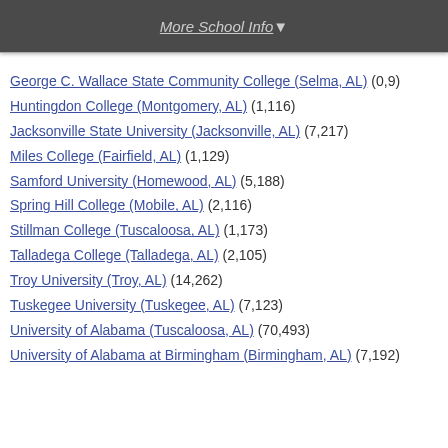More School Info ▼
George C. Wallace State Community College (Selma, AL) (0,9)
Huntingdon College (Montgomery, AL) (1,116)
Jacksonville State University (Jacksonville, AL) (7,217)
Miles College (Fairfield, AL) (1,129)
Samford University (Homewood, AL) (5,188)
Spring Hill College (Mobile, AL) (2,116)
Stillman College (Tuscaloosa, AL) (1,173)
Talladega College (Talladega, AL) (2,105)
Troy University (Troy, AL) (14,262)
Tuskegee University (Tuskegee, AL) (7,123)
University of Alabama (Tuscaloosa, AL) (70,493)
University of Alabama at Birmingham (Birmingham, AL) (7,192)